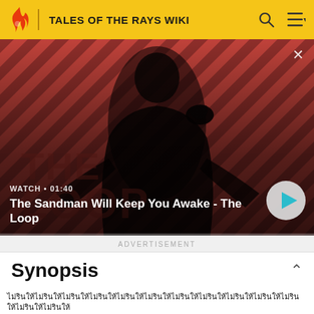TALES OF THE RAYS WIKI
[Figure (screenshot): Video thumbnail showing a dark-clothed figure with a crow on shoulder against a red diagonal striped background. Title text: 'The Sandman Will Keep You Awake - The Loop'. Watch time: 01:40. Play button visible.]
ADVERTISEMENT
Synopsis
[Thai language text - first paragraph]
[Thai language text - second line partial]